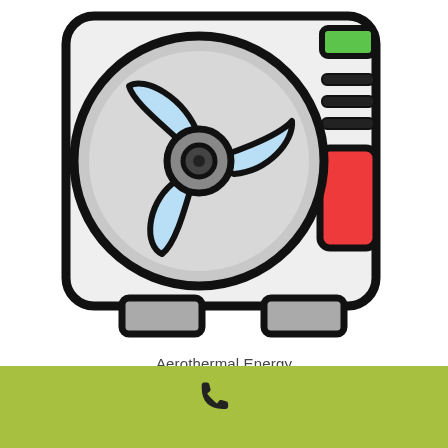[Figure (illustration): Illustration of an aerothermal heat pump / outdoor air conditioning unit. The device is shown from the front: a large circular fan with three blue blades and a dark hub sits inside a gray circular shroud. The rectangular unit body is light gray with rounded corners. On the right side panel there are horizontal slot vents, a small green indicator light at top, and a red rectangular button/switch below. The unit sits on two gray rectangular feet/legs.]
Aerothermal Energy
[Figure (illustration): A phone/call icon (handset silhouette) in dark color centered on a yellow-green/olive green rectangular banner at the bottom of the page.]